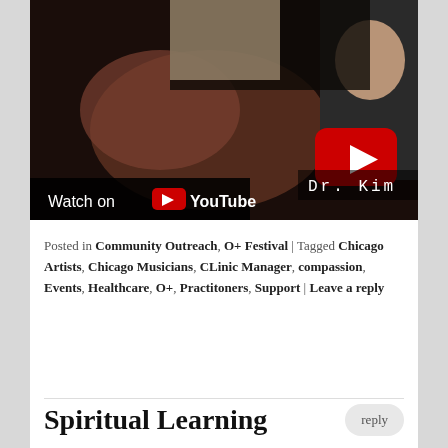[Figure (screenshot): YouTube video thumbnail showing a person with 'Dr. Kim' text overlay, a red YouTube play button in the upper right, and a 'Watch on YouTube' bar at the bottom.]
Posted in Community Outreach, O+ Festival | Tagged Chicago Artists, Chicago Musicians, CLinic Manager, compassion, Events, Healthcare, O+, Practitoners, Support | Leave a reply
Spiritual Learning